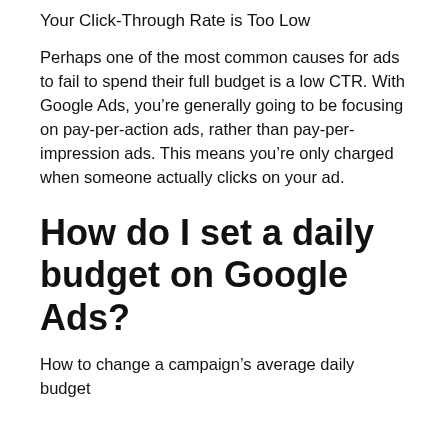Your Click-Through Rate is Too Low
Perhaps one of the most common causes for ads to fail to spend their full budget is a low CTR. With Google Ads, you’re generally going to be focusing on pay-per-action ads, rather than pay-per-impression ads. This means you’re only charged when someone actually clicks on your ad.
How do I set a daily budget on Google Ads?
How to change a campaign’s average daily budget